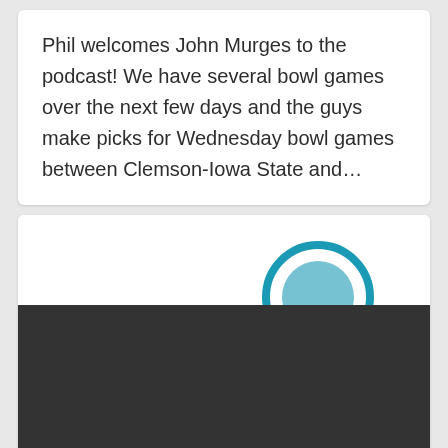Phil welcomes John Murges to the podcast! We have several bowl games over the next few days and the guys make picks for Wednesday bowl games between Clemson-Iowa State and…
[Figure (illustration): A partial illustration showing cartoon-style headphone/podcast imagery with blue and teal tones, partially obscured by a dark video player area. A red scroll-to-top button is visible in the lower right. A red bar is visible at the bottom left.]